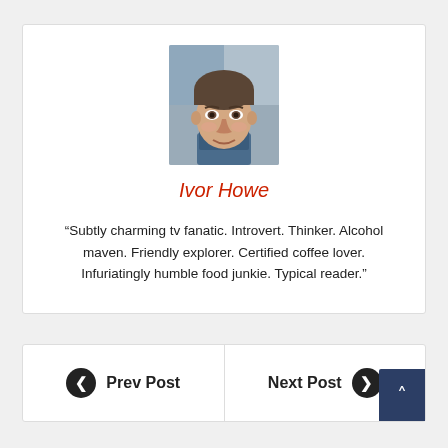[Figure (photo): Headshot photo of a young man with short hair wearing a blue shirt, against a blurred background]
Ivor Howe
“Subtly charming tv fanatic. Introvert. Thinker. Alcohol maven. Friendly explorer. Certified coffee lover. Infuriatingly humble food junkie. Typical reader.”
Prev Post
Next Post